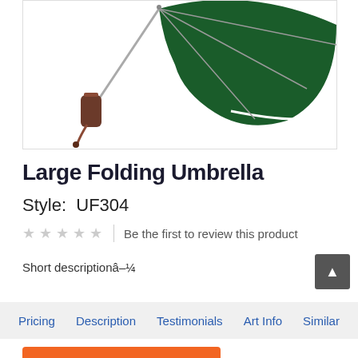[Figure (photo): A large folding umbrella with dark green canopy and brown wooden handle, shown open at an angle against a white background. The handle has a wrist strap.]
Large Folding Umbrella
Style: UF304
★★★★★ | Be the first to review this product
Short descriptionâ–¼
Pricing | Description | Testimonials | Art Info | Similar